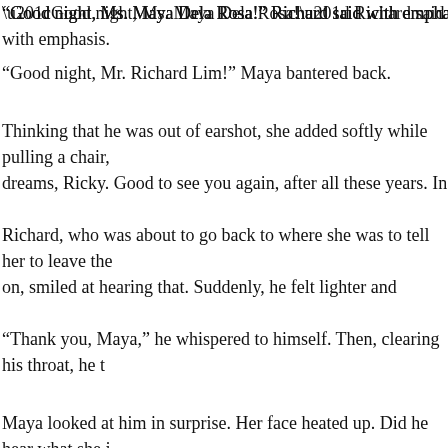“Good night, Ms. Maya Dela Rosa!” Richard said with emphasis.
“Good night, Mr. Richard Lim!” Maya bantered back.
Thinking that he was out of earshot, she added softly while pulling a chair, dreams, Ricky. Good to see you again, after all these years. In fairness, que mo pa rin talaga ha!” Then, Maya giggled at her silliness.
Richard, who was about to go back to where she was to tell her to leave the on, smiled at hearing that. Suddenly, he felt lighter and happy. So, he is ‘Ric when she is alone ha. Hmmmm…
“Thank you, Maya,” he whispered to himself. Then, clearing his throat, he t “Errr, Maya, please don’t turn off the hall light, please.”
Maya looked at him in surprise. Her face heated up. Did he hear what she j “Oh, you are still there, Kuya Richard!” She said with emphasis. “Sure, I will Good night,” she managed to say.
Richard smiled at her. Maya had an inkling that he heard the whole thing. Bu